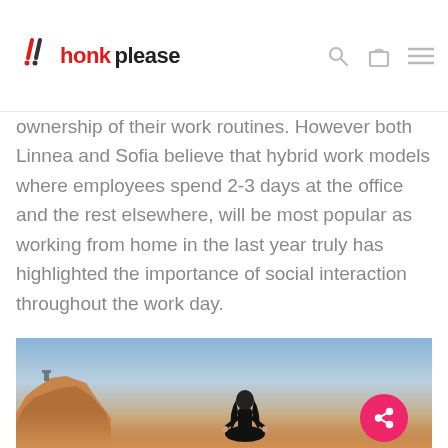honk please
ownership of their work routines. However both Linnea and Sofia believe that hybrid work models where employees spend 2-3 days at the office and the rest elsewhere, will be most popular as working from home in the last year truly has highlighted the importance of social interaction throughout the work day.
[Figure (photo): A woman meditating in yoga pose on a hilltop at sunset, with a rocky cliff/hill on the left and a wide landscape in the background. The sky transitions from blue at the top to warm orange/pink at the horizon.]